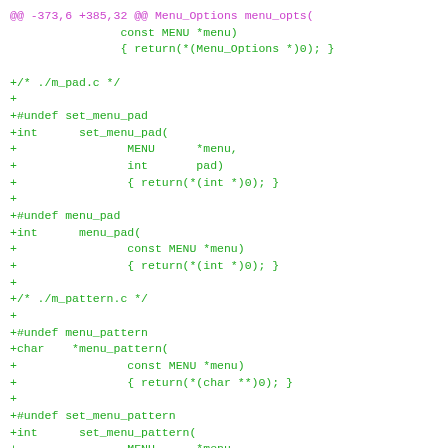@@ -373,6 +385,32 @@ Menu_Options menu_opts(
                const MENU *menu)
                { return(*(Menu_Options *)0); }

+/* ./m_pad.c */
+
+#undef set_menu_pad
+int      set_menu_pad(
+                MENU      *menu,
+                int       pad)
+                { return(*(int *)0); }
+
+#undef menu_pad
+int      menu_pad(
+                const MENU *menu)
+                { return(*(int *)0); }
+
+/* ./m_pattern.c */
+
+#undef menu_pattern
+char    *menu_pattern(
+                const MENU *menu)
+                { return(*(char **)0); }
+
+#undef set_menu_pattern
+int      set_menu_pattern(
+                MENU      *menu,
+                const char *p)
+                { return(*(int *)0); }
+
 /* ./m_post.c */